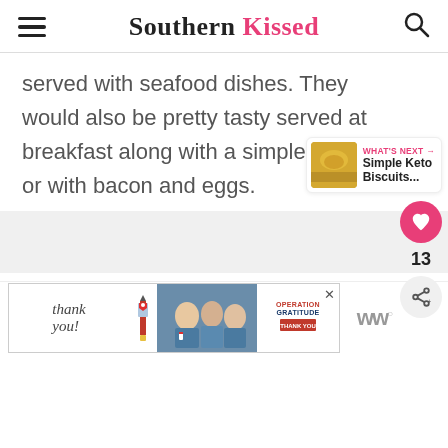Southern Kissed
served with seafood dishes. They would also be pretty tasty served at breakfast along with a simple omelet or with bacon and eggs.
[Figure (infographic): Heart/like button (pink circle with heart icon) and share button, with count 13]
[Figure (infographic): What's Next panel: Simple Keto Biscuits... with food thumbnail]
[Figure (photo): Advertisement banner: Thank you note with Operation Gratitude branding and healthcare workers photo]
[Figure (logo): WW logo (grey letters) on the right side of the ad]